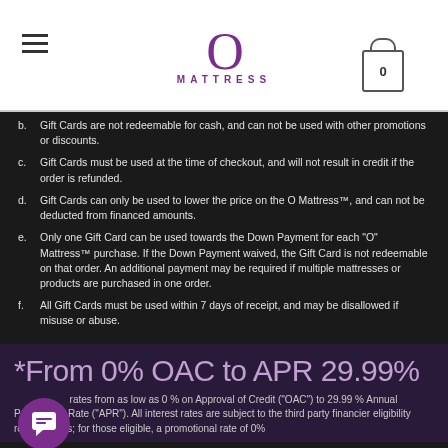O MATTRESS
b. Gift Cards are not redeemable for cash, and can not be used with other promotions or discounts.
c. Gift Cards must be used at the time of checkout, and will not result in credit if the order is refunded.
d. Gift Cards can only be used to lower the price on the O Mattress™, and can not be deducted from financed amounts.
e. Only one Gift Card can be used towards the Down Payment for each "O" Mattress™ purchase. If the Down Payment waived, the Gift Card is not redeemable on that order. An additional payment may be required if multiple mattresses or products are purchased in one order.
f. All Gift Cards must be used within 7 days of receipt, and may be disallowed if misuse or abuse.
*From 0% OAC to APR 29.99%
rates from as low as 0 % on Approval of Credit ("OAC") to 29.99 % Annual Percentage Rate ("APR"). All interest rates are subject to the third party financier eligibility requirements; for those eligible, a promotional rate of 0%